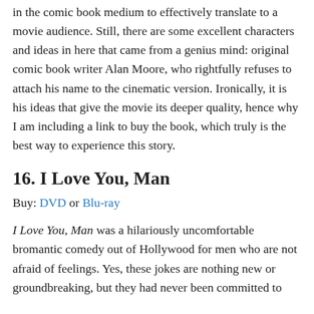in the comic book medium to effectively translate to a movie audience. Still, there are some excellent characters and ideas in here that came from a genius mind: original comic book writer Alan Moore, who rightfully refuses to attach his name to the cinematic version. Ironically, it is his ideas that give the movie its deeper quality, hence why I am including a link to buy the book, which truly is the best way to experience this story.
16. I Love You, Man
Buy: DVD or Blu-ray
I Love You, Man was a hilariously uncomfortable bromantic comedy out of Hollywood for men who are not afraid of feelings. Yes, these jokes are nothing new or groundbreaking, but they had never been committed to